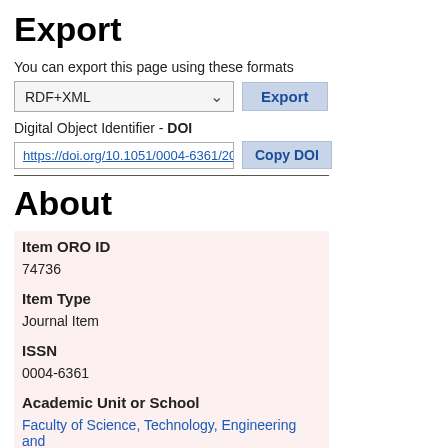Export
You can export this page using these formats
RDF+XML  Export
Digital Object Identifier - DOI
https://doi.org/10.1051/0004-6361/2019  Copy DOI
About
| Field | Value |
| --- | --- |
| Item ORO ID | 74736 |
| Item Type | Journal Item |
| ISSN | 0004-6361 |
| Academic Unit or School | Faculty of Science, Technology, Engineering and |